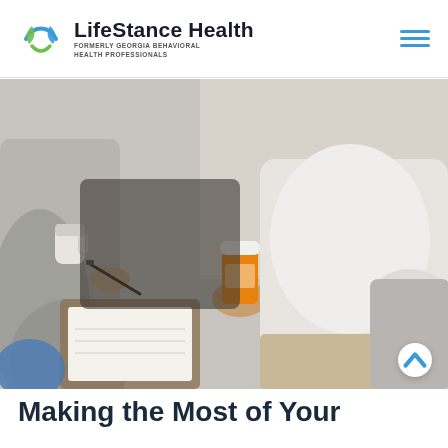LifeStance Health — FORMERLY GEORGIA BEHAVIORAL HEALTH PROFESSIONALS
[Figure (photo): A healthcare provider holding a pen and clipboard while a patient holds an orange prescription pill bottle during a consultation session.]
Making the Most of Your